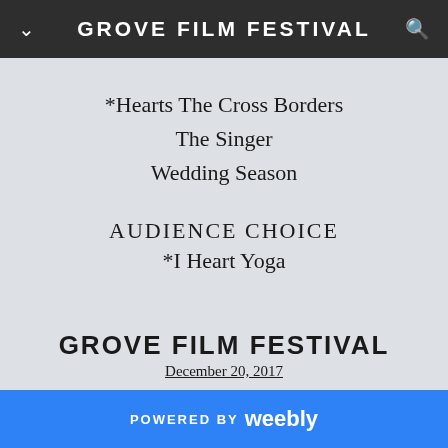GROVE FILM FESTIVAL
*Hearts The Cross Borders
The Singer
Wedding Season
AUDIENCE CHOICE
*I Heart Yoga
GROVE FILM FESTIVAL
December 20, 2017
POWERED BY weebly